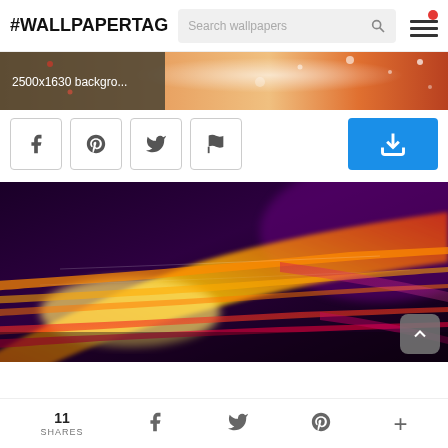#WALLPAPERTAG — Search wallpapers (search bar) — Menu icon
[Figure (photo): Horizontal thumbnail strip showing an orange/red abstract background image with label '2500x1630 backgro...' on the left portion]
[Figure (screenshot): Row of social share buttons: Facebook, Pinterest, Twitter, Flag/Report icons, and a blue download button on the right]
[Figure (photo): Main wallpaper preview: abstract orange, red, yellow light streaks on dark purple/black background]
11 SHARES — Facebook — Twitter — Pinterest — +